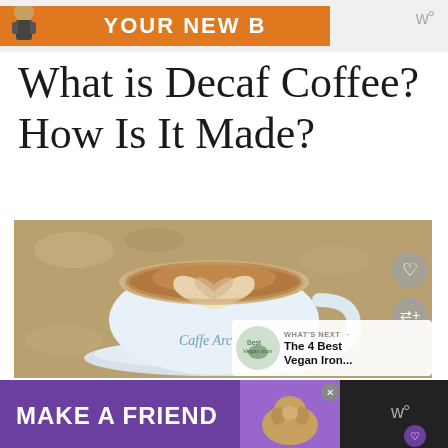[Figure (other): Top advertisement banner with orange background, cartoon figure on left, and text partially visible. W logo on right.]
What is Decaf Coffee?
How Is It Made?
[Figure (photo): Close-up photo of a latte with heart-shaped latte art foam in a white ceramic cup labeled 'Caffe Arc...', on a saucer on a marble/granite surface. Interface overlays include a heart button, share button, and a 'WHAT'S NEXT → The 4 Best Vegan Iron...' card in the bottom right.]
[Figure (other): Bottom advertisement banner with dark background, purple section reading 'MAKE A FRIEND' with heart icon, dog photo, close button, and W logo.]